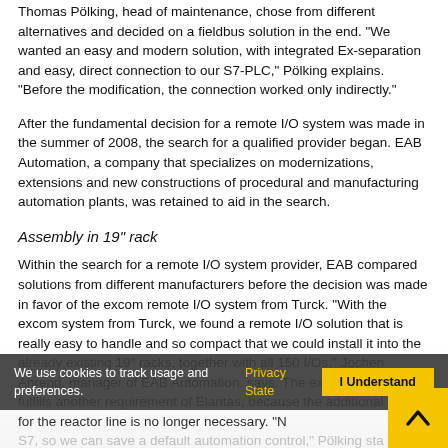Thomas Pölking, head of maintenance, chose from different alternatives and decided on a fieldbus solution in the end. "We wanted an easy and modern solution, with integrated Ex-separation and easy, direct connection to our S7-PLC," Pölking explains. "Before the modification, the connection worked only indirectly."
After the fundamental decision for a remote I/O system was made in the summer of 2008, the search for a qualified provider began. EAB Automation, a company that specializes on modernizations, extensions and new constructions of procedural and manufacturing automation plants, was retained to aid in the search.
Assembly in 19" rack
Within the search for a remote I/O system provider, EAB compared solutions from different manufacturers before the decision was made in favor of the excom remote I/O system from Turck. "With the excom system from Turck, we found a remote I/O solution that is really easy to handle and so compact that we could install it into the already existing 19" racks, together with all 150 I/Os," Jochen Ahrend, manager of EAB Automation, says. The excom systems fulfills another requirement of Elantas, because the additional PLC for the reactor line is no longer necessary. "N... S7, so we can save a default automation control," Pölking sta...